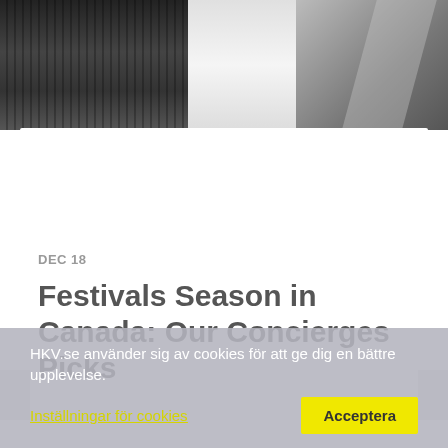[Figure (photo): Black and white photo of city buildings/skyscrapers, partially visible at top of page]
DEC 18
Festivals Season in Canada: Our Concierges Picks
HKV.se använder sig av cookies för att ge dig en bättre upplevelse.  Inställningar för cookies   Acceptera